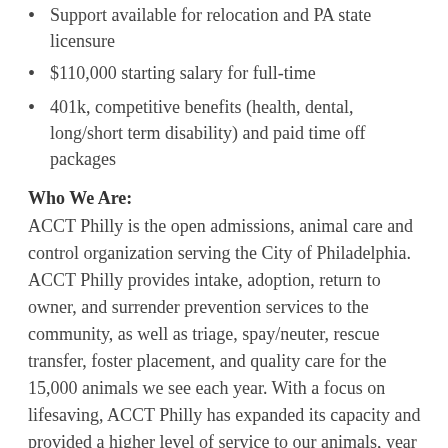Support available for relocation and PA state licensure
$110,000 starting salary for full-time
401k, competitive benefits (health, dental, long/short term disability) and paid time off packages
Who We Are:
ACCT Philly is the open admissions, animal care and control organization serving the City of Philadelphia. ACCT Philly provides intake, adoption, return to owner, and surrender prevention services to the community, as well as triage, spay/neuter, rescue transfer, foster placement, and quality care for the 15,000 animals we see each year. With a focus on lifesaving, ACCT Philly has expanded its capacity and provided a higher level of service to our animals, year over year.
Who We Need:
A Veterinarian who thrives in a fast paced environment